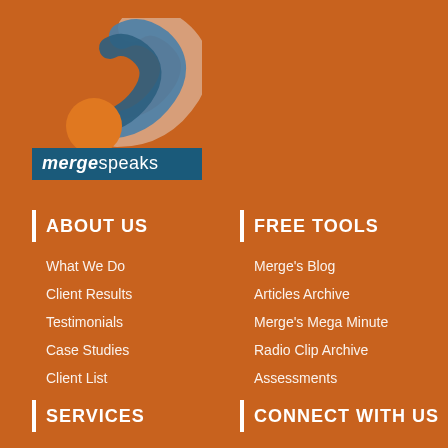[Figure (logo): mergespeaks logo with concentric arc shapes in peach, blue, and orange, with text 'mergespeaks' on dark blue background band]
ABOUT US
What We Do
Client Results
Testimonials
Case Studies
Client List
FREE TOOLS
Merge's Blog
Articles Archive
Merge's Mega Minute
Radio Clip Archive
Assessments
SERVICES
CONNECT WITH US